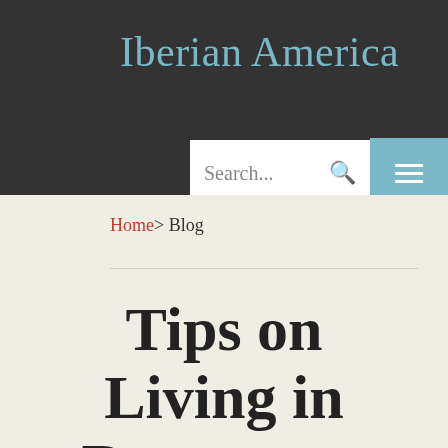Iberian America
Search...
Home> Blog
Tips on Living in Dangerous